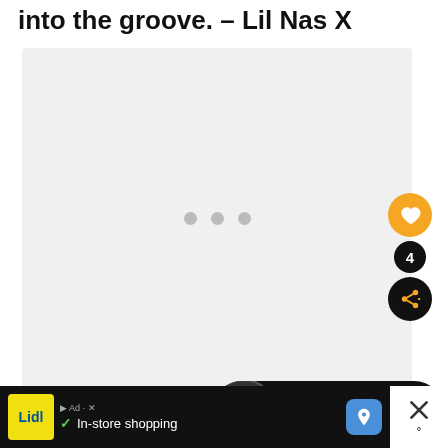into the groove. — Lil Nas X
[Figure (other): Slideshow image placeholder with three grey dots indicating loading or empty state]
[Figure (infographic): What's Next panel showing Lil Durk Quotes and... with heart button (4 likes) and share button]
[Figure (infographic): Advertisement bar for Lidl In-store shopping with map icon and close (X) button on right]